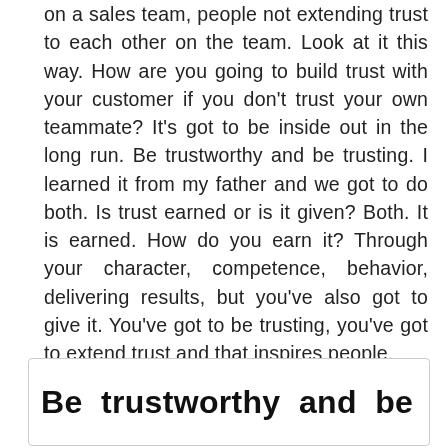on a sales team, people not extending trust to each other on the team. Look at it this way. How are you going to build trust with your customer if you don't trust your own teammate? It's got to be inside out in the long run. Be trustworthy and be trusting. I learned it from my father and we got to do both. Is trust earned or is it given? Both. It is earned. How do you earn it? Through your character, competence, behavior, delivering results, but you've also got to give it. You've got to be trusting, you've got to extend trust and that inspires people.
Be trustworthy and be